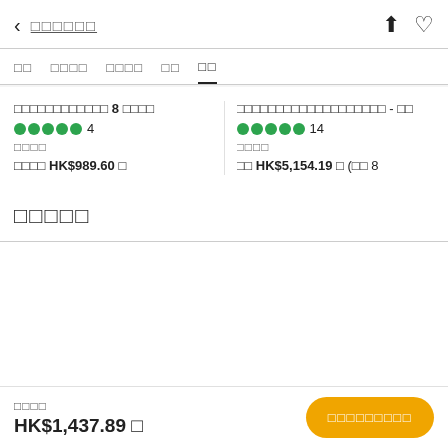< □□□□□□ [share] [heart]
□□  □□□□  □□□□  □□  □□
□□□□□□□□□□□□ 8 □□□□  ● 4 □□□□  □□□□ HK$989.60 □
□□□□□□□□□□□□□□□□□□□ - □□  ● 14 □□□□  □□ HK$5,154.19 □ (□□ 8
□□□□□
□□□□  HK$1,437.89 □  [□□□□□□□□□]